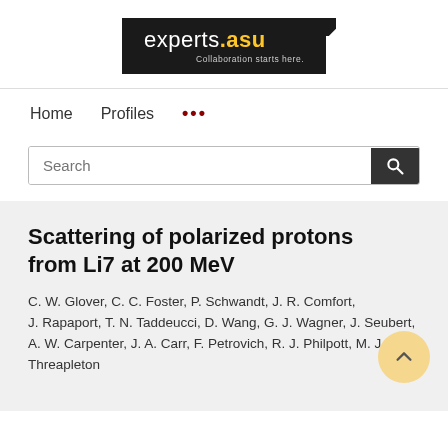[Figure (logo): experts.asu logo — dark background with white text 'experts', yellow '.asu', tagline 'Collaboration starts here.']
Home   Profiles   ...
Search
Scattering of polarized protons from Li7 at 200 MeV
C. W. Glover, C. C. Foster, P. Schwandt, J. R. Comfort, J. Rapaport, T. N. Taddeucci, D. Wang, G. J. Wagner, J. Seubert, A. W. Carpenter, J. A. Carr, F. Petrovich, R. J. Philpott, M. J. Threapleton